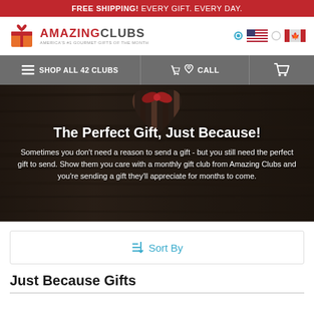FREE SHIPPING! EVERY GIFT. EVERY DAY.
[Figure (logo): AmazingClubs logo with gift box icon, text reading AMAZINGCLUBS, America's #1 Gourmet Gifts of the Month]
[Figure (infographic): Navigation bar with hamburger menu icon (SHOP ALL 42 CLUBS), phone icon (CALL), and cart icon]
[Figure (photo): Hero image showing a heart-shaped striped chocolate box with red bow on a dark wood background, with overlay text: The Perfect Gift, Just Because! and body text below]
The Perfect Gift, Just Because!
Sometimes you don't need a reason to send a gift - but you still need the perfect gift to send. Show them you care with a monthly gift club from Amazing Clubs and you're sending a gift they'll appreciate for months to come.
Sort By
Just Because Gifts